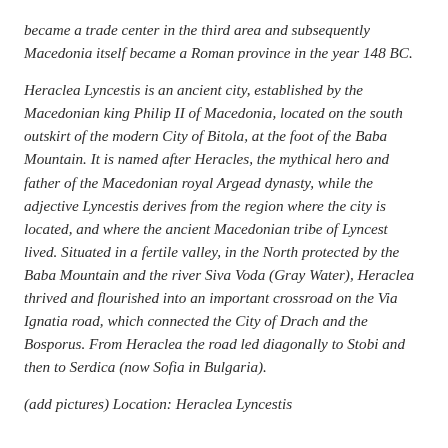became a trade center in the third area and subsequently Macedonia itself became a Roman province in the year 148 BC.
Heraclea Lyncestis is an ancient city, established by the Macedonian king Philip II of Macedonia, located on the south outskirt of the modern City of Bitola, at the foot of the Baba Mountain. It is named after Heracles, the mythical hero and father of the Macedonian royal Argead dynasty, while the adjective Lyncestis derives from the region where the city is located, and where the ancient Macedonian tribe of Lyncest lived. Situated in a fertile valley, in the North protected by the Baba Mountain and the river Siva Voda (Gray Water), Heraclea thrived and flourished into an important crossroad on the Via Ignatia road, which connected the City of Drach and the Bosporus. From Heraclea the road led diagonally to Stobi and then to Serdica (now Sofia in Bulgaria).
(add pictures) Location: Heraclea Lyncestis